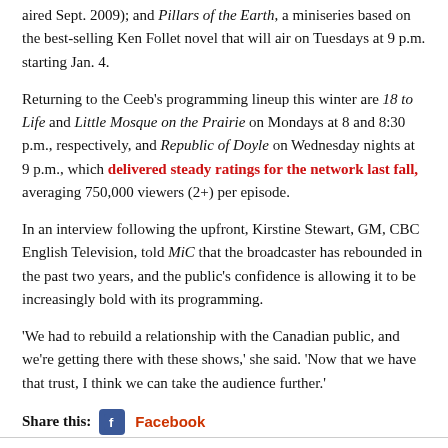aired Sept. 2009); and Pillars of the Earth, a miniseries based on the best-selling Ken Follet novel that will air on Tuesdays at 9 p.m. starting Jan. 4.
Returning to the Ceeb’s programming lineup this winter are 18 to Life and Little Mosque on the Prairie on Mondays at 8 and 8:30 p.m., respectively, and Republic of Doyle on Wednesday nights at 9 p.m., which delivered steady ratings for the network last fall, averaging 750,000 viewers (2+) per episode.
In an interview following the upfront, Kirstine Stewart, GM, CBC English Television, told MiC that the broadcaster has rebounded in the past two years, and the public’s confidence is allowing it to be increasingly bold with its programming.
‘We had to rebuild a relationship with the Canadian public, and we’re getting there with these shows,’ she said. ‘Now that we have that trust, I think we can take the audience further.’
Share this: Facebook